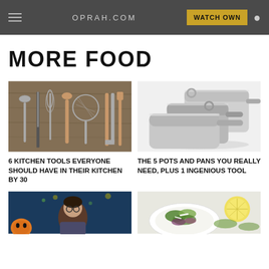OPRAH.COM | WATCH OWN
MORE FOOD
[Figure (photo): Various kitchen tools including spoons, knife, whisk, wooden spoon, strainer, and tongs laid on a wooden surface]
6 KITCHEN TOOLS EVERYONE SHOULD HAVE IN THEIR KITCHEN BY 30
[Figure (photo): Stainless steel pots and pans stacked together on a white background]
THE 5 POTS AND PANS YOU REALLY NEED, PLUS 1 INGENIOUS TOOL
[Figure (photo): Person with glasses in front of colorful decorative background]
[Figure (photo): Salad in a bowl with greens and other ingredients]